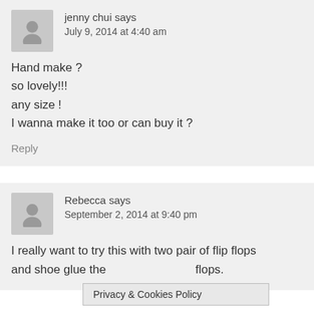jenny chui says
July 9, 2014 at 4:40 am
Hand make ?
so lovely!!!
any size !
I wanna make it too or can buy it ?
Reply
Rebecca says
September 2, 2014 at 9:40 pm
I really want to try this with two pair of flip flops and shoe glue the flops.
Privacy & Cookies Policy